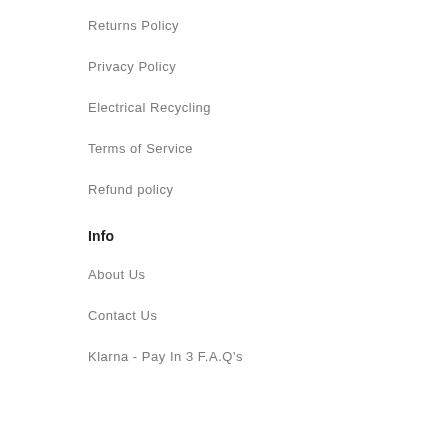Returns Policy
Privacy Policy
Electrical Recycling
Terms of Service
Refund policy
Info
About Us
Contact Us
Klarna - Pay In 3 F.A.Q's